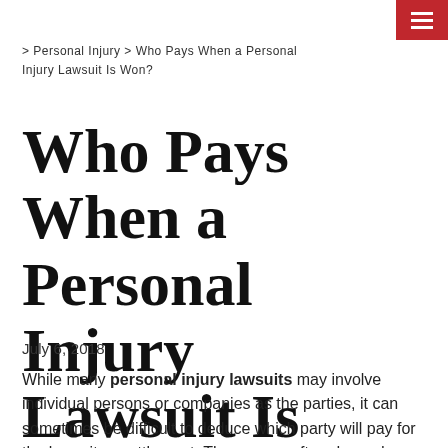> Personal Injury > Who Pays When a Personal Injury Lawsuit Is Won?
Who Pays When a Personal Injury Lawsuit Is Won?
July 6, 2018
While many personal injury lawsuits may involve individual persons or companies as the parties, it can sometimes be difficult to deduce which party will pay for the lawsuit or settlement. The answer often depends on the circumstances and type of case in